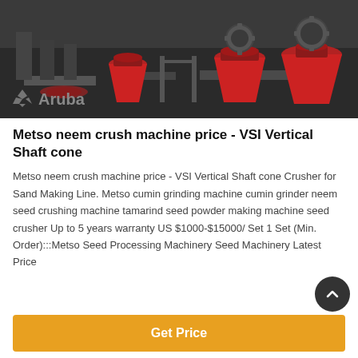[Figure (photo): Industrial mining/crushing machinery with large red cone crushers and gear mechanisms in a factory setting. Aruba watermark logo visible at bottom left.]
Metso neem crush machine price - VSI Vertical Shaft cone
Metso neem crush machine price - VSI Vertical Shaft cone Crusher for Sand Making Line. Metso cumin grinding machine cumin grinder neem seed crushing machine tamarind seed powder making machine seed crusher Up to 5 years warranty US $1000-$15000/ Set 1 Set (Min. Order):::Metso Seed Processing Machinery Seed Machinery Latest Price
Get Price